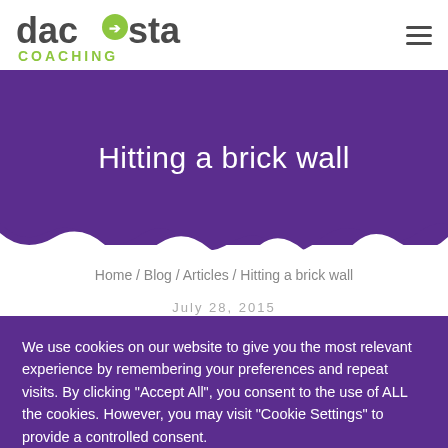[Figure (logo): DaCosta Coaching logo with stylized arrow circle in lime green and grey/dark text, with COACHING in lime green uppercase below]
Hitting a brick wall
Home / Blog / Articles / Hitting a brick wall
July 28, 2015
We use cookies on our website to give you the most relevant experience by remembering your preferences and repeat visits. By clicking "Accept All", you consent to the use of ALL the cookies. However, you may visit "Cookie Settings" to provide a controlled consent.